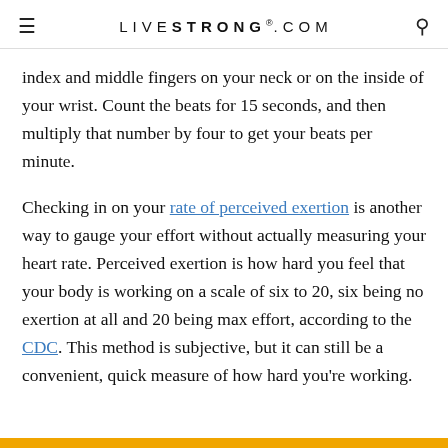LIVESTRONG.COM
index and middle fingers on your neck or on the inside of your wrist. Count the beats for 15 seconds, and then multiply that number by four to get your beats per minute.
Checking in on your rate of perceived exertion is another way to gauge your effort without actually measuring your heart rate. Perceived exertion is how hard you feel that your body is working on a scale of six to 20, six being no exertion at all and 20 being max effort, according to the CDC. This method is subjective, but it can still be a convenient, quick measure of how hard you're working.